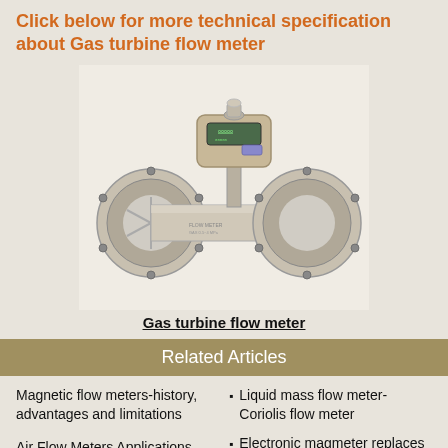Click below for more technical specification about Gas turbine flow meter
[Figure (photo): Gas turbine flow meter product photo showing a stainless steel pipe body with flanged ends and a digital display unit mounted on top]
Gas turbine flow meter
Related Articles
Magnetic flow meters-history, advantages and limitations
Air Flow Meters Applications
Liquid mass flow meter-Coriolis flow meter
Electronic magmeter replaces mechanical flow meter